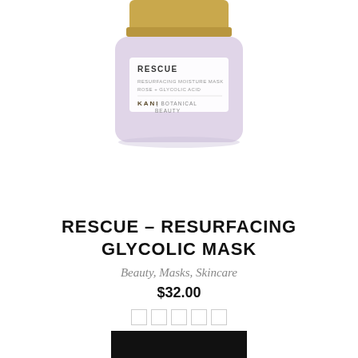[Figure (illustration): A cosmetic jar product shot: a frosted lavender/mauve glass jar with a shiny gold lid. The jar has a white label reading 'RESCUE RESURFACING MOISTURE MASK ROSE + GLYCOLIC ACID' and 'KANI BOTANICAL BEAUTY'. The jar is shown from slightly above, cut off at the top by the page edge.]
RESCUE – RESURFACING GLYCOLIC MASK
Beauty, Masks, Skincare
$32.00